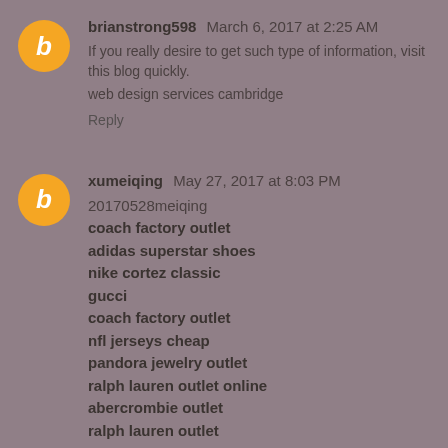brianstrong598  March 6, 2017 at 2:25 AM
If you really desire to get such type of information, visit this blog quickly.
web design services cambridge
Reply
xumeiqing  May 27, 2017 at 8:03 PM
20170528meiqing
coach factory outlet
adidas superstar shoes
nike cortez classic
gucci
coach factory outlet
nfl jerseys cheap
pandora jewelry outlet
ralph lauren outlet online
abercrombie outlet
ralph lauren outlet
Reply